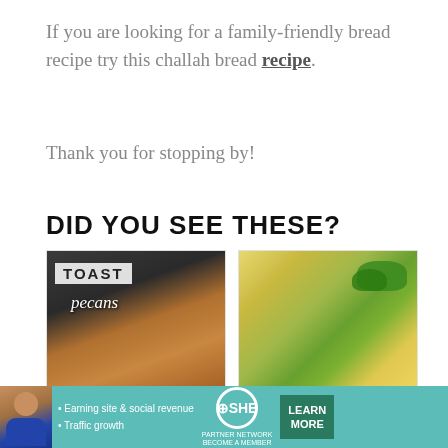If you are looking for a family-friendly bread recipe try this challah bread recipe.
Thank you for stopping by!
DID YOU SEE THESE?
[Figure (photo): Photo of toasted pecans in a dark skillet with overlay text 'TOAST pecans']
HOW TO TOAST
[Figure (photo): Close-up photo of crockpot breakfast casserole with green onion topping]
CROCKPOT BREAKFAST
[Figure (photo): Partial image of another recipe card at the bottom]
[Figure (infographic): SHE Partner Network advertisement banner with person, bullet points about earning site and social revenue and traffic growth, SHE logo, and Learn More button]